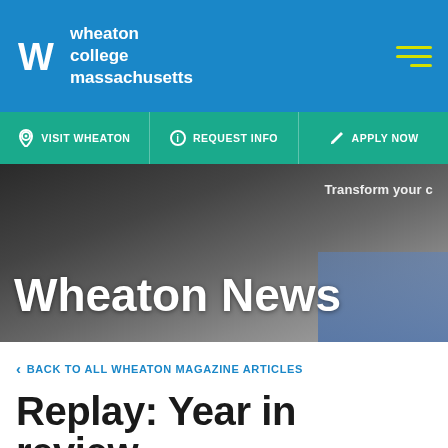[Figure (screenshot): Wheaton College Massachusetts website header with blue background, W logo, and college name in white text, plus hamburger menu icon with yellow-green lines]
[Figure (screenshot): Teal navigation bar with three options: Visit Wheaton, Request Info, Apply Now]
[Figure (photo): Hero banner showing blurred background image with text 'Wheaton News' in large white bold font and 'Transform your...' text visible at upper right, and people visible at lower right]
< BACK TO ALL WHEATON MAGAZINE ARTICLES
Replay: Year in review